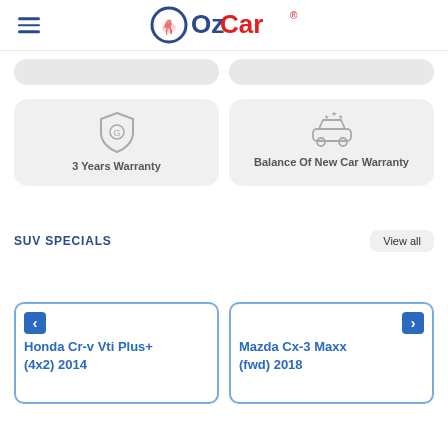OzCar
[Figure (other): Two grey rounded rectangle search/filter tab placeholders]
[Figure (other): Two warranty option cards: '3 Years Warranty' with shield icon and 'Balance Of New Car Warranty' with car icon]
SUV SPECIALS
View all
Honda Cr-v Vti Plus+ (4x2) 2014
Mazda Cx-3 Maxx (fwd) 2018